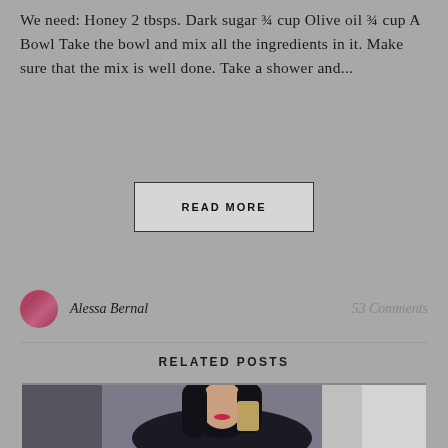We need: Honey 2 tbsps. Dark sugar ¾ cup Olive oil ¾ cup A Bowl Take the bowl and mix all the ingredients in it. Make sure that the mix is well done. Take a shower and...
READ MORE
Alessa Bernal
53 Comments
RELATED POSTS
[Figure (photo): A young woman with long dark hair taking a mirror selfie with a phone in what appears to be a bathroom. She is wearing a dark outfit. A navigation arrow (chevron up) is visible on the right side of the image.]